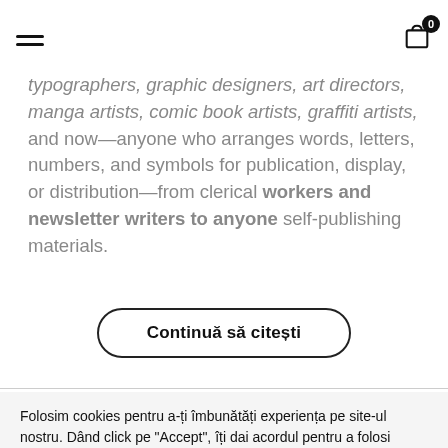hamburger menu icon and cart icon with badge 0
typographers, graphic designers, art directors, manga artists, comic book artists, graffiti artists, and now—anyone who arranges words, letters, numbers, and symbols for publication, display, or distribution—from clerical workers and newsletter writers to anyone self-publishing materials.
Continuă să citești
Folosim cookies pentru a-ți îmbunătăți experiența pe site-ul nostru. Dând click pe "Accept", îți dai acordul pentru a folosi TOATE cookie-urile.
Setări Cookie
ACCEPT